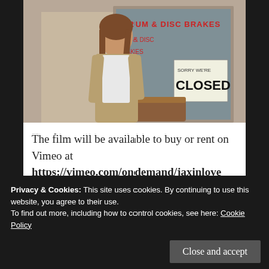[Figure (photo): A woman with long brown hair stands in front of a shop window showing signs reading 'DRUM & DISC BRAKES' and 'SORRY WE'RE CLOSED'. She wears a tan jacket over a white shirt.]
The film will be available to buy or rent on Vimeo at https://vimeo.com/ondemand/jaxinlove starting Monday morning, April 20, 2020. You can also watch a trailer there as well. Rakefet will be doing a live Q&A on the Jax in Love Facebook page with some of the cast on Friday, April 24th. Check the page for updates.
Privacy & Cookies: This site uses cookies. By continuing to use this website, you agree to their use.
To find out more, including how to control cookies, see here: Cookie Policy
Close and accept